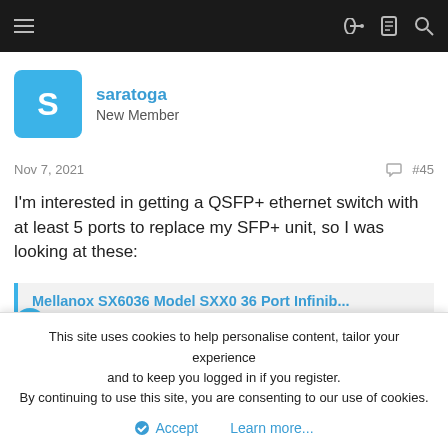Forum navigation header bar
saratoga
New Member
Nov 7, 2021  #45
I'm interested in getting a QSFP+ ethernet switch with at least 5 ports to replace my SFP+ unit, so I was looking at these:
Mellanox SX6036 Model SXX0 36 Port Infinib...
So, this picture is of an older unit that I no longer have - none of these currently for sale have 'rackmount ears'.
This site uses cookies to help personalise content, tailor your experience and to keep you logged in if you register.
By continuing to use this site, you are consenting to our use of cookies.
Accept  Learn more...